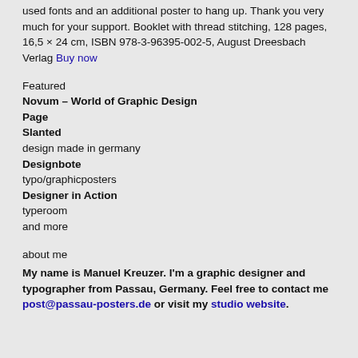used fonts and an additional poster to hang up. Thank you very much for your support. Booklet with thread stitching, 128 pages, 16,5 × 24 cm, ISBN 978-3-96395-002-5, August Dreesbach Verlag Buy now
Featured
Novum – World of Graphic Design
Page
Slanted
design made in germany
Designbote
typo/graphicposters
Designer in Action
typeroom
and more
about me
My name is Manuel Kreuzer. I'm a graphic designer and typographer from Passau, Germany. Feel free to contact me post@passau-posters.de or visit my studio website.